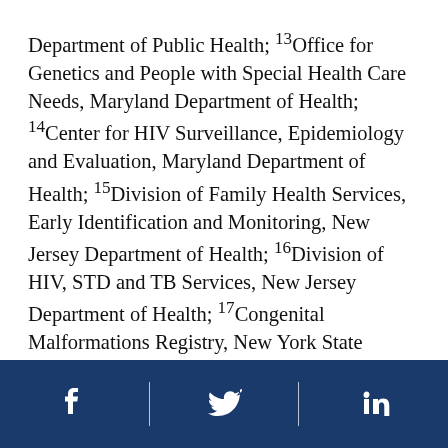Department of Public Health; 13Office for Genetics and People with Special Health Care Needs, Maryland Department of Health; 14Center for HIV Surveillance, Epidemiology and Evaluation, Maryland Department of Health; 15Division of Family Health Services, Early Identification and Monitoring, New Jersey Department of Health; 16Division of HIV, STD and TB Services, New Jersey Department of Health; 17Congenital Malformations Registry, New York State Department of Health; 18Bureau of HIV/AIDS Epidemiology, New York State Department of Health; 19HIV Epidemiology and Field Services Program, New York City Department of Health and Mental Hygiene, New York; 20Birth Defects Monitoring Program, North Carolina Department of Health and Human Services; 21Division of Public Health, Communicable Disease
[Figure (other): Dark blue footer bar with Facebook, Twitter, and LinkedIn social media icons separated by vertical dividers]